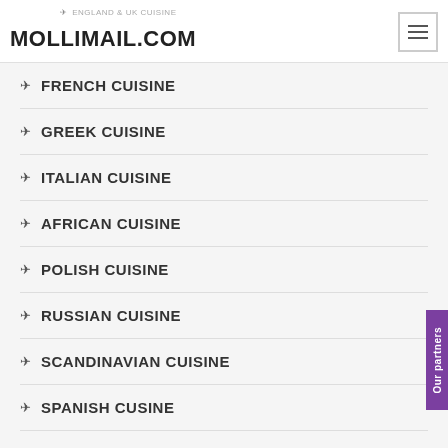MOLLIMAIL.COM
ENGLAND & UK CUISINE
FRENCH CUISINE
GREEK CUISINE
ITALIAN CUISINE
AFRICAN CUISINE
POLISH CUISINE
RUSSIAN CUISINE
SCANDINAVIAN CUISINE
SPANISH CUSINE
TURKISH CUISINE
INDIAN CUISINE